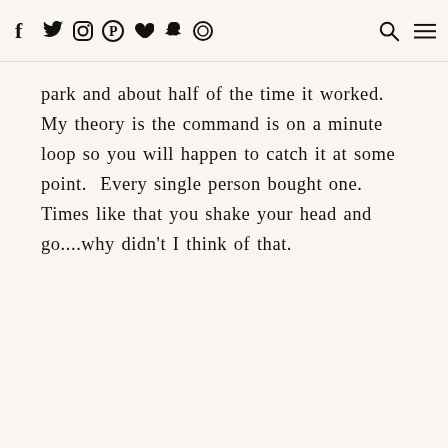Social media icons (Facebook, Twitter, Instagram, Pinterest, heart, Snapchat, circle icon) on left; search and menu icons on right
park and about half of the time it worked. My theory is the command is on a minute loop so you will happen to catch it at some point. Every single person bought one. Times like that you shake your head and go....why didn't I think of that.